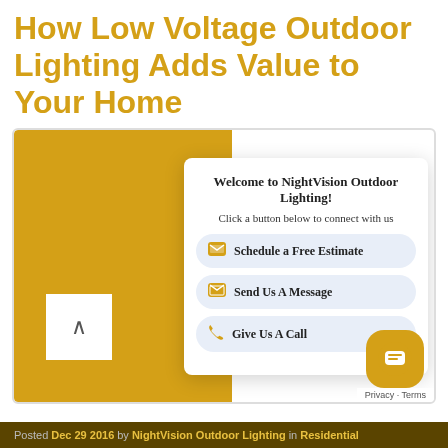How Low Voltage Outdoor Lighting Adds Value to Your Home
[Figure (screenshot): Website screenshot showing a golden/amber background image area on the left, with a popup chat widget on the right side displaying 'Welcome to NightVision Outdoor Lighting!' and three action buttons: Schedule a Free Estimate, Send Us A Message, Give Us A Call. A close X button appears on the overlay. A scroll-up arrow button appears bottom-left. A floating chat bubble icon appears bottom-right.]
Posted Dec 29 2016 by NightVision Outdoor Lighting in Residential